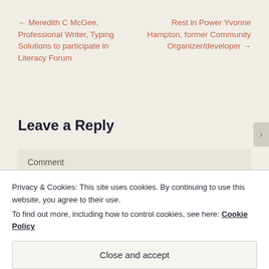← Meredith C McGee, Professional Writer, Typing Solutions to participate in Literacy Forum
Rest in Power Yvonne Hampton, former Community Organizer/developer →
Leave a Reply
Comment
Privacy & Cookies: This site uses cookies. By continuing to use this website, you agree to their use.
To find out more, including how to control cookies, see here: Cookie Policy
Close and accept